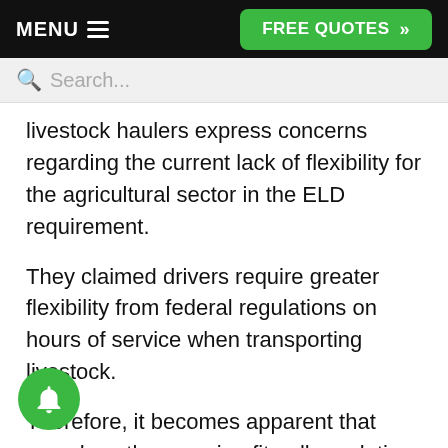MENU  FREE QUOTES »
Search...
livestock haulers express concerns regarding the current lack of flexibility for the agricultural sector in the ELD requirement.
They claimed drivers require greater flexibility from federal regulations on hours of service when transporting livestock.
Therefore, it becomes apparent that somehow the one size-fits-all regulation might not always meet the operating requirements of some industry.